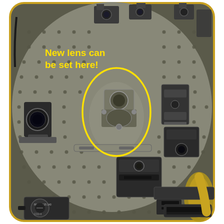[Figure (photo): Photograph of an optical laboratory breadboard (honeycomb optical table) with various optical components, mounts, lens holders, mirrors, and optomechanical hardware. A yellow ellipse is drawn on the image highlighting a central lens mount area. Yellow text annotation reads: 'New lens can be set here!']